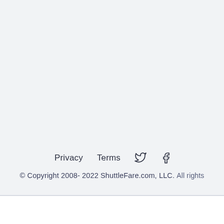Privacy   Terms   [Twitter icon]   [Facebook icon]
© Copyright 2008- 2022 ShuttleFare.com, LLC. All rights